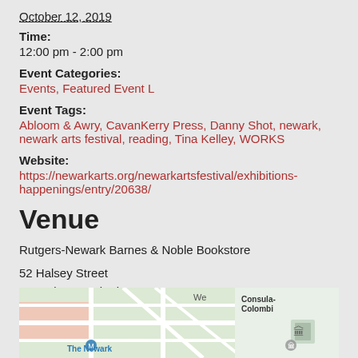October 12, 2019
Time:
12:00 pm - 2:00 pm
Event Categories:
Events, Featured Event L
Event Tags:
Abloom & Awry, CavanKerry Press, Danny Shot, newark, newark arts festival, reading, Tina Kelley, WORKS
Website:
https://newarkarts.org/newarkartsfestival/exhibitions-happenings/entry/20638/
Venue
Rutgers-Newark Barnes & Noble Bookstore
52 Halsey Street
Newark, NJ United States
+ Google Map
[Figure (map): Google map showing area around The Newark museum and Consulate Colombi, with street grid visible]